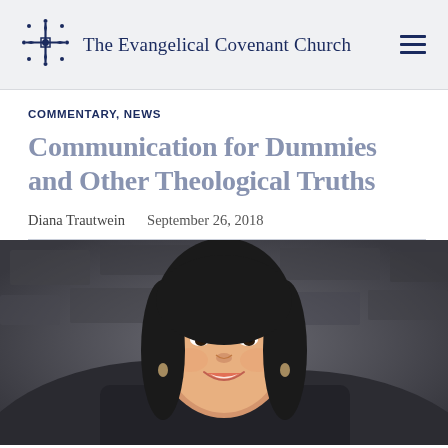The Evangelical Covenant Church
COMMENTARY, NEWS
Communication for Dummies and Other Theological Truths
Diana Trautwein   September 26, 2018
[Figure (photo): Portrait photo of a smiling Asian woman with long dark hair, photographed against a blurred dark stone/brick background.]